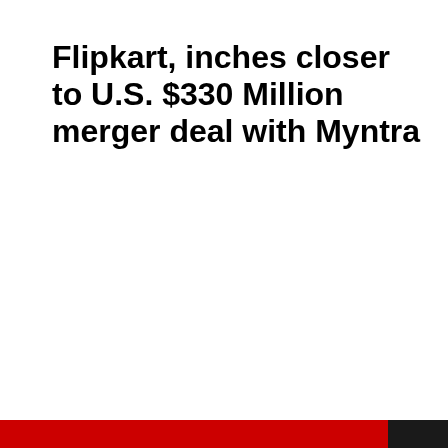Flipkart, inches closer to U.S. $330 Million merger deal with Myntra